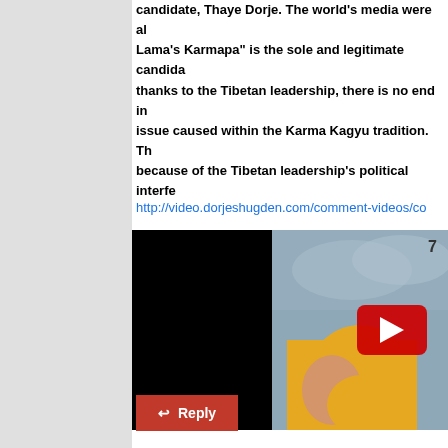candidate, Thaye Dorje. The world's media were also told that "the Dalai Lama's Karmapa" is the sole and legitimate candidate. Unfortunately, thanks to the Tibetan leadership, there is no end in sight for the issue caused within the Karma Kagyu tradition. This is squarely because of the Tibetan leadership's political interfe...
http://video.dorjeshugden.com/comment-videos/co...
[Figure (screenshot): A video thumbnail showing a person in a yellow garment with a partially black left portion and a YouTube play button overlay in the center-right area. A small number '7' is visible in the upper right.]
Reply